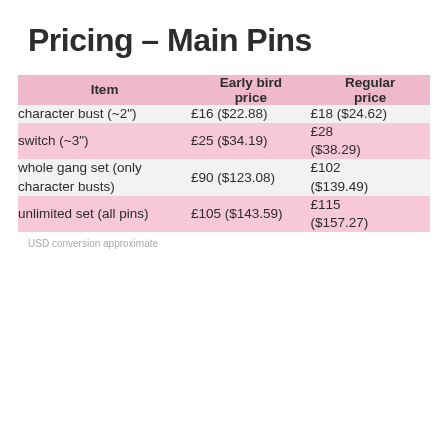Pricing – Main Pins
| Item | Early bird price | Regular price |
| --- | --- | --- |
| character bust (~2") | £16 ($22.88) | £18 ($24.62) |
| switch (~3") | £25 ($34.19) | £28 ($38.29) |
| whole gang set (only character busts) | £90 ($123.08) | £102 ($139.49) |
| unlimited set (all pins) | £105 ($143.59) | £115 ($157.27) |
USD conversion approximate